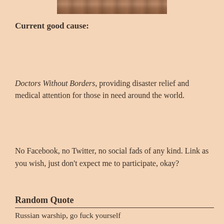[Figure (photo): Partial photo strip visible at the top of the page, showing a cropped photograph with warm brown tones.]
Current good cause:
Doctors Without Borders, providing disaster relief and medical attention for those in need around the world.
No Facebook, no Twitter, no social fads of any kind. Link as you wish, just don't expect me to participate, okay?
Random Quote
Russian warship, go fuck yourself